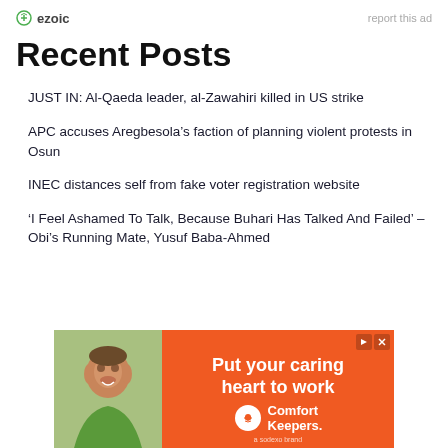ezoic | report this ad
Recent Posts
JUST IN: Al-Qaeda leader, al-Zawahiri killed in US strike
APC accuses Aregbesola’s faction of planning violent protests in Osun
INEC distances self from fake voter registration website
'I Feel Ashamed To Talk, Because Buhari Has Talked And Failed' – Obi’s Running Mate, Yusuf Baba-Ahmed
[Figure (photo): Advertisement banner for Comfort Keepers showing a smiling woman and text 'Put your caring heart to work']